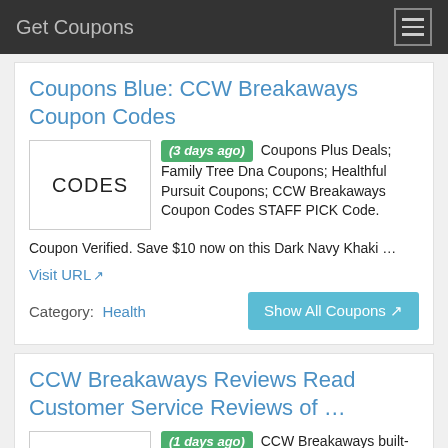Get Coupons
Coupons Blue: CCW Breakaways Coupon Codes
(3 days ago) Coupons Plus Deals; Family Tree Dna Coupons; Healthful Pursuit Coupons; CCW Breakaways Coupon Codes STAFF PICK Code. Coupon Verified. Save $10 now on this Dark Navy Khaki …
Visit URL
Category: Health
Show All Coupons
CCW Breakaways Reviews Read Customer Service Reviews of …
(1 days ago) CCW Breakaways built-in